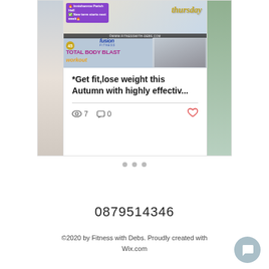[Figure (screenshot): Blog post card showing fitness class image with yoga pose and Total Body Blast Workout banner from Fusion Fitness, with engagement stats (7 views, 0 comments, heart icon)]
*Get fit,lose weight this Autumn with highly effectiv...
[Figure (infographic): Navigation dots (three grey circles) for a carousel]
0879514346
©2020 by Fitness with Debs. Proudly created with Wix.com